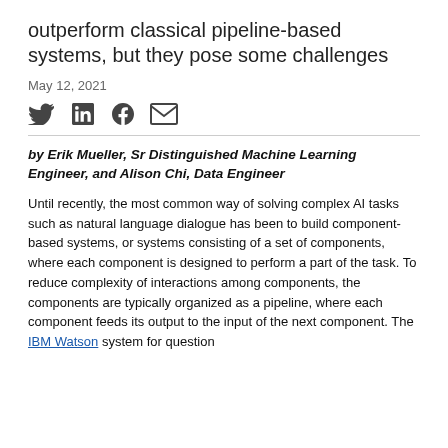outperform classical pipeline-based systems, but they pose some challenges
May 12, 2021
[Figure (other): Social share icons: Twitter, LinkedIn, Facebook, Email]
by Erik Mueller, Sr Distinguished Machine Learning Engineer, and Alison Chi, Data Engineer
Until recently, the most common way of solving complex AI tasks such as natural language dialogue has been to build component-based systems, or systems consisting of a set of components, where each component is designed to perform a part of the task. To reduce complexity of interactions among components, the components are typically organized as a pipeline, where each component feeds its output to the input of the next component. The IBM Watson system for question